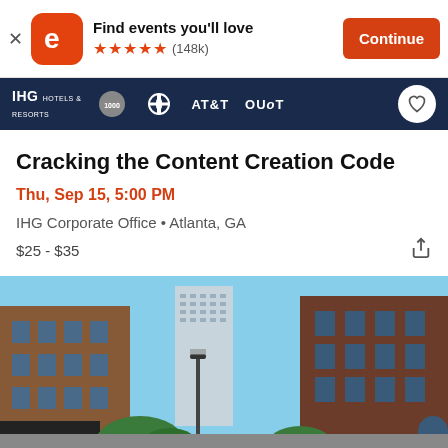[Figure (screenshot): Eventbrite app banner with logo, 'Find events you'll love', 5 stars (148k), and Continue button]
[Figure (screenshot): IHG Hotels & Resorts event header bar with sponsor logos: IHG Hotels & Resorts, 1000 Brands, AT&T, OUoT, and a heart/favorite button]
Cracking the Content Creation Code
Thu, Sep 15, 5:00 PM
IHG Corporate Office • Atlanta, GA
$25 - $35
[Figure (photo): Street-level photo of Atlanta downtown brick buildings with a modern skyscraper in the background and blue sky]